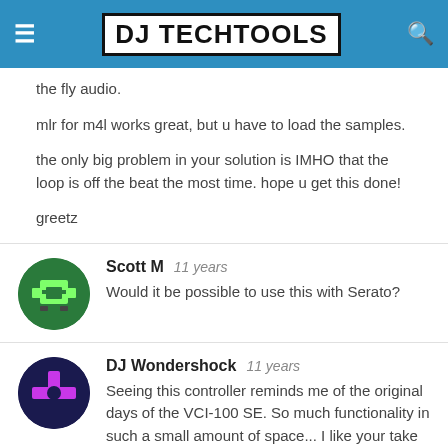DJ TechTools
the fly audio.
mlr for m4l works great, but u have to load the samples.
the only big problem in your solution is IMHO that the loop is off the beat the most time. hope u get this done!
greetz
Scott M   11 years
Would it be possible to use this with Serato?
DJ Wondershock   11 years
Seeing this controller reminds me of the original days of the VCI-100 SE. So much functionality in such a small amount of space... I like your take on